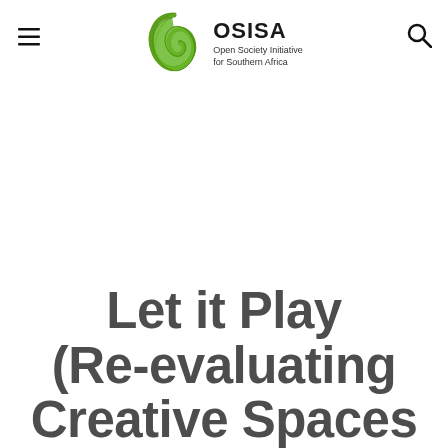[Figure (logo): OSISA logo — green leaf/spiral shape with text 'OSISA Open Society Initiative for Southern Africa']
Let it Play (Re-evaluating Creative Spaces